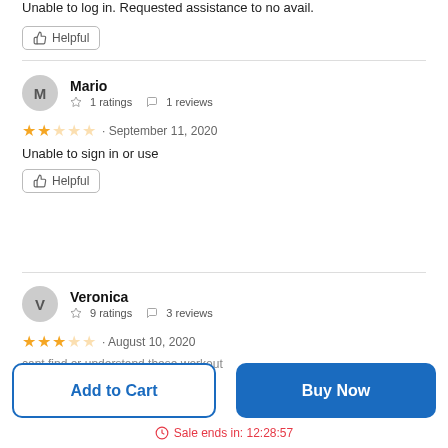Unable to log in. Requested assistance to no avail.
Helpful
Mario
☆ 1 ratings   ☐ 1 reviews
★★☆☆☆ · September 11, 2020
Unable to sign in or use
Helpful
Veronica
☆ 9 ratings   ☐ 3 reviews
★★★☆☆ · August 10, 2020
cant find or understand these workout
Add to Cart
Buy Now
Sale ends in: 12:28:57